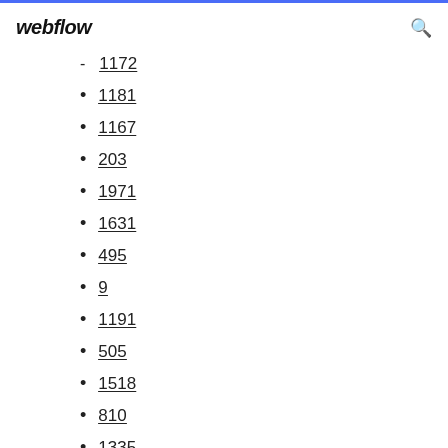webflow
1172
1181
1167
203
1971
1631
495
9
1191
505
1518
810
1335